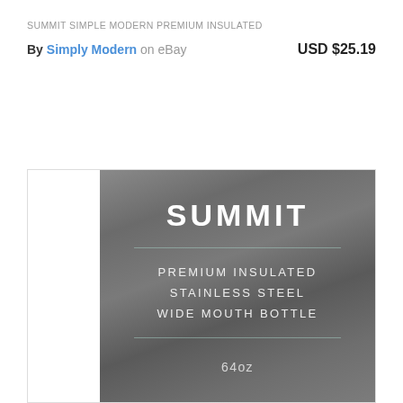SUMMIT SIMPLE MODERN PREMIUM INSULATED
By Simply Modern on eBay   USD $25.19
[Figure (photo): Photo of a stainless steel water bottle label showing 'SUMMIT' in large text, 'PREMIUM INSULATED STAINLESS STEEL WIDE MOUTH BOTTLE' in smaller text, and '64oz' at the bottom, with a metallic gray background.]